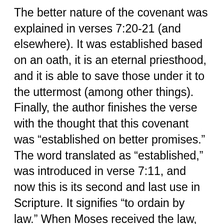The better nature of the covenant was explained in verses 7:20-21 (and elsewhere). It was established based on an oath, it is an eternal priesthood, and it is able to save those under it to the uttermost (among other things). Finally, the author finishes the verse with the thought that this covenant was “established on better promises.” The word translated as “established,” was introduced in verse 7:11, and now this is its second and last use in Scripture. It signifies “to ordain by law.” When Moses received the law, the Mosaic Covenant was so established. With the coming of Christ, the New Covenant is likewise so established. These are legally established covenants which convey the will of God, and the means of propitiation between God and man.
The “better promises” of the New Covenant will be specified in the coming verses, especially verses